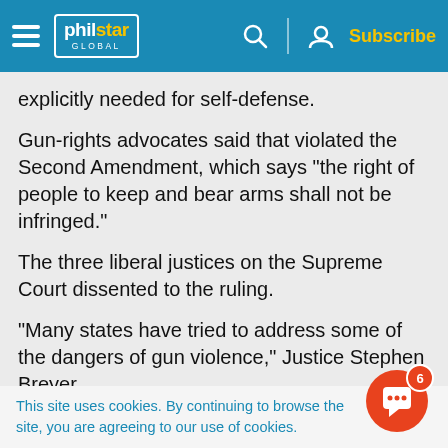philstar GLOBAL — Subscribe
explicitly needed for self-defense.
Gun-rights advocates said that violated the Second Amendment, which says "the right of people to keep and bear arms shall not be infringed."
The three liberal justices on the Supreme Court dissented to the ruling.
"Many states have tried to address some of the dangers of gun violence," Justice Stephen Breyer s e
This site uses cookies. By continuing to browse the site, you are agreeing to our use of cookies.